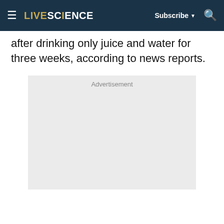LIVESCIENCE — Subscribe ▾ 🔍
after drinking only juice and water for three weeks, according to news reports.
[Figure (other): Advertisement placeholder box with light gray background and 'Advertisement' label text]